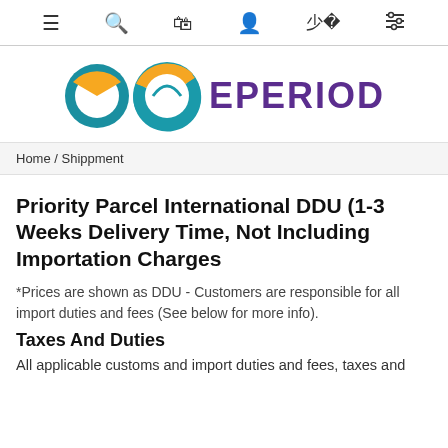≡  🔍  🛍  👤  🔰
[Figure (logo): EPERIOD logo with circular teal and orange graphic mark and purple EPERIOD wordmark]
Home / Shippment
Priority Parcel International DDU (1-3 Weeks Delivery Time, Not Including Importation Charges
*Prices are shown as DDU - Customers are responsible for all import duties and fees (See below for more info).
Taxes And Duties
All applicable customs and import duties and fees, taxes and